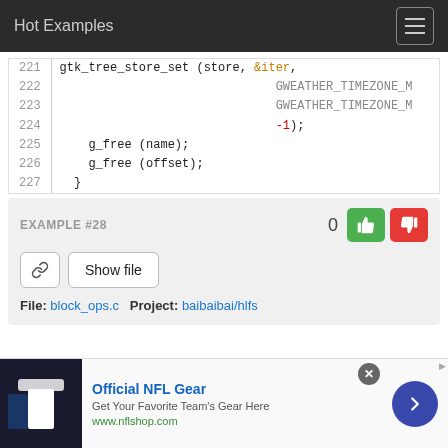Hot Examples
[Figure (screenshot): Code snippet showing lines 221-227 of C code with gtk_tree_store_set, GWEATHER_TIMEZONE_M constants, g_free calls]
EXAMPLE #28
File: block_ops.c   Project: baibaibai/hlfs
[Figure (photo): Advertisement for Official NFL Gear showing football jerseys and a link to www.nflshop.com]